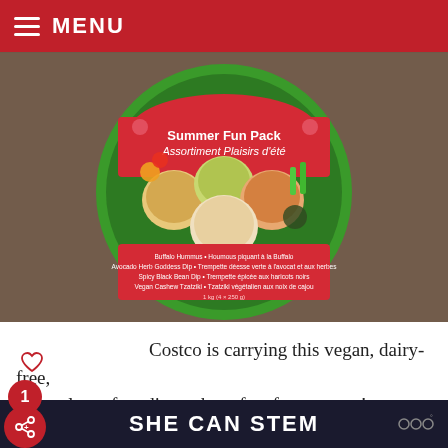MENU
[Figure (photo): A green circular container lid for a 'Summer Fun Pack / Assortiment Plaisirs d'été' product from Summer Fresh, showing four bowls of dips (Buffalo Hummus, Avocado Herb Goddess Dip, Spicy Black Bean Dip, Vegan Cashew Tzatziki) surrounded by colorful vegetables, on a woven background.]
Costco is carrying this vegan, dairy-free, gluten free dip pack perfect for summer! This Summer Fresh Summer Fun Pack of dips caught my eye last time we were at Costco. I love the bright green and pink
SHE CAN STEM